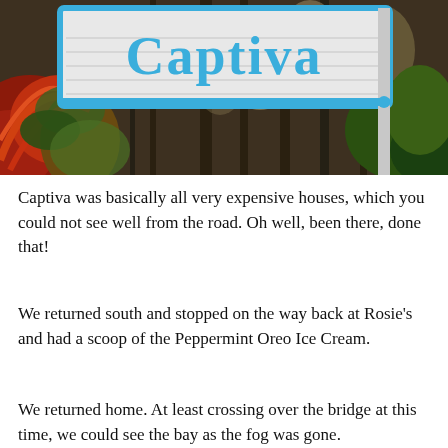[Figure (photo): Photograph of a blue and white 'Captiva' sign surrounded by tropical plants and trees in the background.]
Captiva was basically all very expensive houses, which you could not see well from the road. Oh well, been there, done that!
We returned south and stopped on the way back at Rosie's and had a scoop of the Peppermint Oreo Ice Cream.
We returned home. At least crossing over the bridge at this time, we could see the bay as the fog was gone.